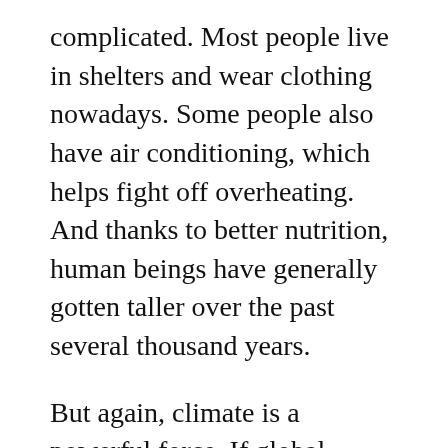complicated. Most people live in shelters and wear clothing nowadays. Some people also have air conditioning, which helps fight off overheating. And thanks to better nutrition, human beings have generally gotten taller over the past several thousand years.
But again, climate is a powerful force. If global warming gets really bad, that trend of taller huan beings could halt, or even reverse. The NBA centers of today could be the mythological giants of the future.
The next biological rule to examine links